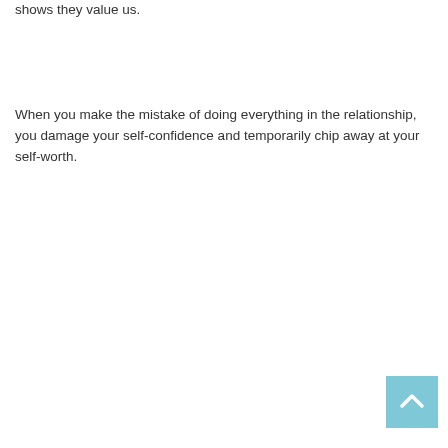shows they value us.
When you make the mistake of doing everything in the relationship, you damage your self-confidence and temporarily chip away at your self-worth.
[Figure (other): Back to top button — a light blue square with an upward-pointing chevron/arrow icon in white]